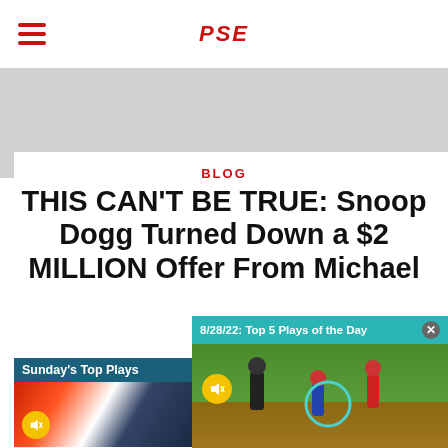PSE
[Figure (screenshot): Gray banner/advertisement area]
BLOG
THIS CAN'T BE TRUE: Snoop Dogg Turned Down a $2 MILLION Offer From Michael
3 months ago • A
[Figure (screenshot): Video overlay: 8/28/22: Top 5 Plays of the Day - baseball game footage with mute button and circle highlight]
[Figure (screenshot): Sunday's Top Plays video thumbnail with abstract swirl art and mute button]